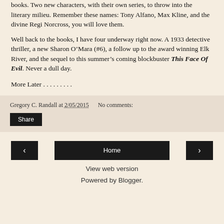books. Two new characters, with their own series, to throw into the literary milieu. Remember these names: Tony Alfano, Max Kline, and the divine Regi Norcross, you will love them.
Well back to the books, I have four underway right now. A 1933 detective thriller, a new Sharon O’Mara (#6), a follow up to the award winning Elk River, and the sequel to this summer’s coming blockbuster This Face Of Evil. Never a dull day.
More Later . . . . . . . . .
Gregory C. Randall at 2/05/2015   No comments:
Share
‹
Home
›
View web version
Powered by Blogger.